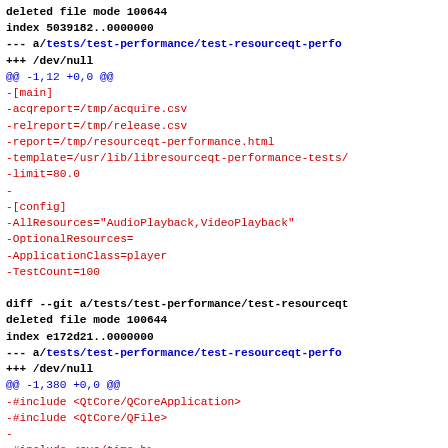diff --git a/tests/test-performance/test-resourceqt-perfo
deleted file mode 100644
index 5039182..0000000
--- a/tests/test-performance/test-resourceqt-perfo
+++ /dev/null
@@ -1,12 +0,0 @@
-[main]
-acqreport=/tmp/acquire.csv
-relreport=/tmp/release.csv
-report=/tmp/resourceqt-performance.html
-template=/usr/lib/libresourceqt-performance-tests/
-limit=80.0
-
-[config]
-AllResources="AudioPlayback,VideoPlayback"
-OptionalResources=
-ApplicationClass=player
-TestCount=100
diff --git a/tests/test-performance/test-resourceqt
deleted file mode 100644
index e172d21..0000000
--- a/tests/test-performance/test-resourceqt-perfo
+++ /dev/null
@@ -1,380 +0,0 @@
-#include <QtCore/QCoreApplication>
-#include <QtCore/QFile>
-
-#include <sys/time.h>
-#include <sys/types.h>
-#include <sys/select.h>